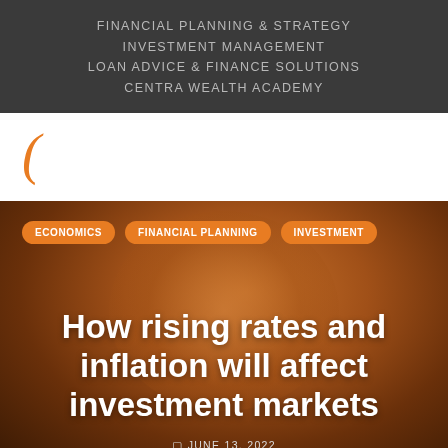FINANCIAL PLANNING & STRATEGY
INVESTMENT MANAGEMENT
LOAN ADVICE & FINANCE SOLUTIONS
CENTRA WEALTH ACADEMY
[Figure (logo): Centra Wealth logo — orange letter C]
ECONOMICS    FINANCIAL PLANNING    INVESTMENT
How rising rates and inflation will affect investment markets
JUNE 13, 2022